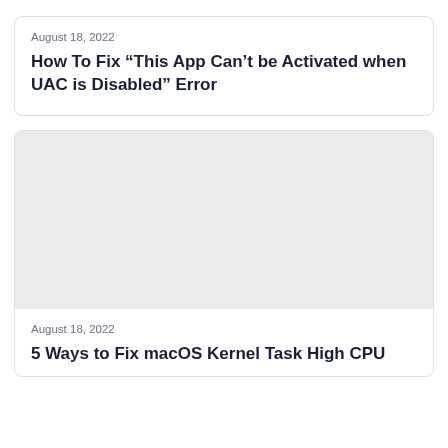August 18, 2022
How To Fix “This App Can’t be Activated when UAC is Disabled” Error
[Figure (photo): Thumbnail image placeholder for article about macOS Kernel Task High CPU]
August 18, 2022
5 Ways to Fix macOS Kernel Task High CPU